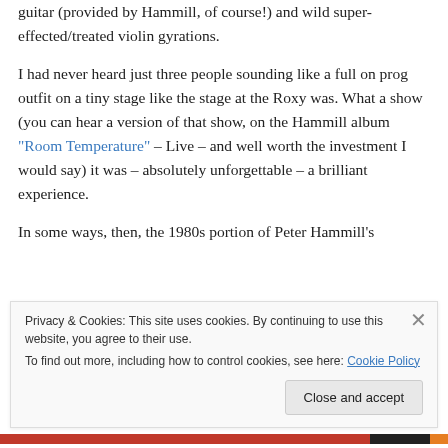guitar (provided by Hammill, of course!) and wild super-effected/treated violin gyrations.
I had never heard just three people sounding like a full on prog outfit on a tiny stage like the stage at the Roxy was. What a show (you can hear a version of that show, on the Hammill album "Room Temperature" – Live – and well worth the investment I would say) it was – absolutely unforgettable – a brilliant experience.
In some ways, then, the 1980s portion of Peter Hammill's
Privacy & Cookies: This site uses cookies. By continuing to use this website, you agree to their use.
To find out more, including how to control cookies, see here: Cookie Policy